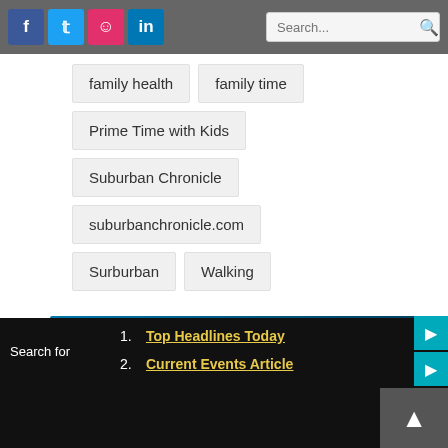[Figure (screenshot): Top navigation bar with social media icons (Facebook, Twitter, Instagram, LinkedIn) and a search box]
family health
family time
Prime Time with Kids
Suburban Chronicle
suburbanchronicle.com
Surburban
Walking
[Figure (photo): AbbVie advertisement banner with teal/blue background and tagline YOU MOVE MEDICINE FORWA (truncated)]
Search for
1. Top Headlines Today
2. Current Events Article